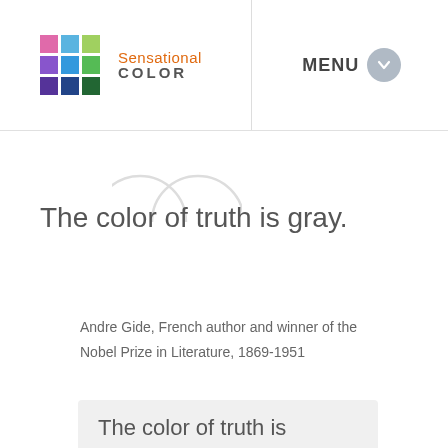[Figure (logo): Sensational Color logo with 3x3 colored squares grid and text]
MENU
The color of truth is gray.
Andre Gide, French author and winner of the Nobel Prize in Literature, 1869-1951
The color of truth is